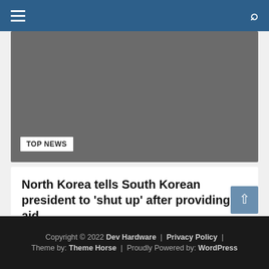[Navigation bar with hamburger menu and search icon]
[Figure (photo): Dark gray placeholder image with a 'TOP NEWS' badge in the lower left corner]
North Korea tells South Korean president to 'shut up' after providing aid
August 19, 2022 / Ward Herrera
Copyright © 2022 Dev Hardware | Privacy Policy | Theme by: Theme Horse | Proudly Powered by: WordPress